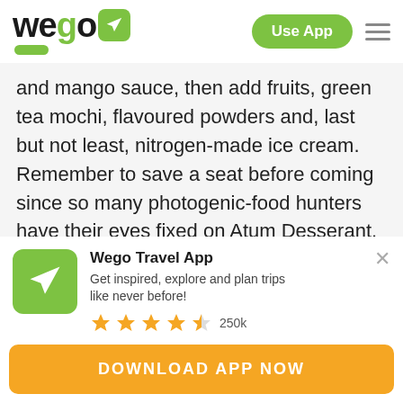Wego — Use App
and mango sauce, then add fruits, green tea mochi, flavoured powders and, last but not least, nitrogen-made ice cream. Remember to save a seat before coming since so many photogenic-food hunters have their eyes fixed on Atum Desserant.
[Figure (screenshot): Wego Travel App promotional banner with green app icon showing airplane, title 'Wego Travel App', description 'Get inspired, explore and plan trips like never before!', 4.5 star rating with 250k reviews, and orange 'DOWNLOAD APP NOW' button]